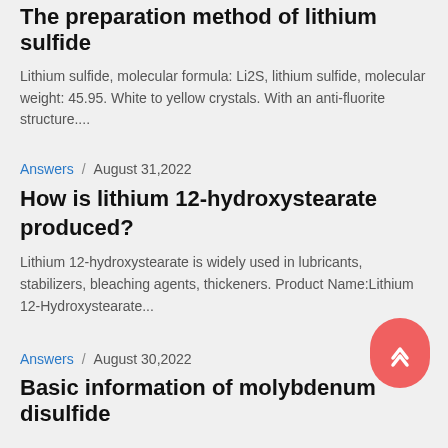The preparation method of lithium sulfide
Lithium sulfide, molecular formula: Li2S, lithium sulfide, molecular weight: 45.95. White to yellow crystals. With an anti-fluorite structure....
Answers / August 31,2022
How is lithium 12-hydroxystearate produced?
Lithium 12-hydroxystearate is widely used in lubricants, stabilizers, bleaching agents, thickeners. Product Name:Lithium 12-Hydroxystearate...
Answers / August 30,2022
Basic information of molybdenum disulfide